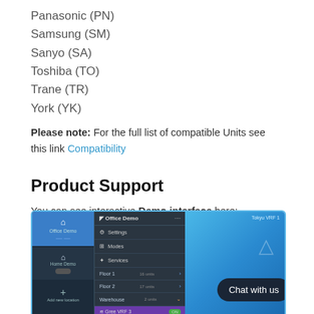Panasonic (PN)
Samsung (SM)
Sanyo (SA)
Toshiba (TO)
Trane (TR)
York (YK)
Please note: For the full list of compatible Units see this link Compatibility
Product Support
You can see interactive Demo interface here:
[Figure (screenshot): Interactive demo interface screenshot showing a VRF control app with navigation panel on left, settings/floors menu in center, and a light blue gradient panel on the right with a 'Chat with us' button overlay]